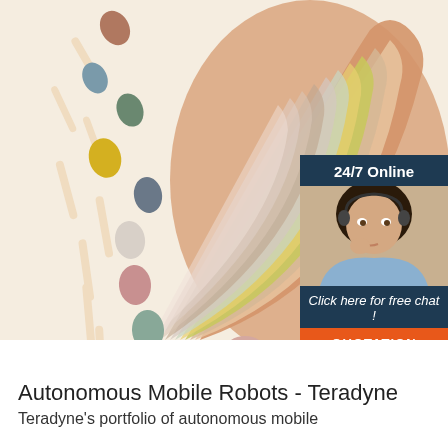[Figure (photo): Product photo showing colorful silicone baby bibs and spoons fanned out in various pastel and earth tones, with a 24/7 Online chat box overlay featuring an agent photo, 'Click here for free chat!' text, and a QUOTATION button]
[Figure (logo): TOP logo in orange and red with arrow/house icon]
Autonomous Mobile Robots - Teradyne
Teradyne's portfolio of autonomous mobile